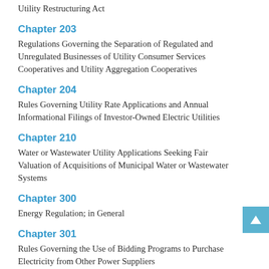Utility Restructuring Act
Chapter 203
Regulations Governing the Separation of Regulated and Unregulated Businesses of Utility Consumer Services Cooperatives and Utility Aggregation Cooperatives
Chapter 204
Rules Governing Utility Rate Applications and Annual Informational Filings of Investor-Owned Electric Utilities
Chapter 210
Water or Wastewater Utility Applications Seeking Fair Valuation of Acquisitions of Municipal Water or Wastewater Systems
Chapter 300
Energy Regulation; in General
Chapter 301
Rules Governing the Use of Bidding Programs to Purchase Electricity from Other Power Suppliers